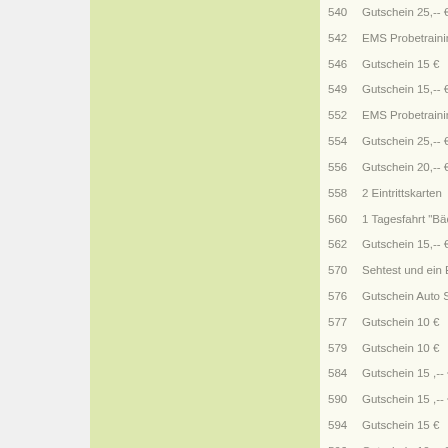540 Gutschein 25,-- €
542 EMS Probetraining Gutschein 59,...
546 Gutschein 15 €
549 Gutschein 15,-- €
552 EMS Probetraining Gutschein 59,...
554 Gutschein 25,-- €
556 Gutschein 20,--  €
558 2 Eintrittskarten
560 1 Tagesfahrt "Bäderexpress"
562 Gutschein 15,-- €
570 Sehtest und ein Etui
576 Gutschein Auto Sicherheitscheck ...
577 Gutschein 10 €
579 Gutschein 10 €
584 Gutschein 15 ,-- €
590 Gutschein 15 ,-- €
594 Gutschein 15 €
596 Gutschein 10,-- €
599 Gutschein 15 €